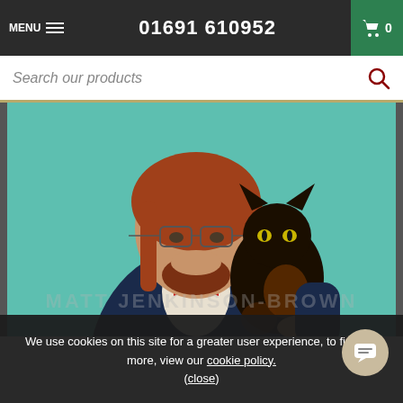MENU  01691 610952  0
Search our products
[Figure (photo): A man with red hair, glasses, and a Union Jack bow tie holding a large dark tortoiseshell cat against a teal background]
MATT JENKINSON-BROWN
We use cookies on this site for a greater user experience, to find out more, view our cookie policy. (close)